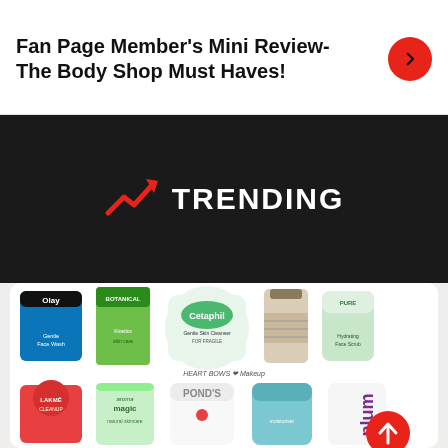Fan Page Member's Mini Review-The Body Shop Must Haves!
TRENDING
[Figure (illustration): Two rows of skincare/beauty product bottles and tubes. Top row includes Olay, Botanical Kinetics, Cetaphil Gentle Skin Cleanser, a dark glass bottle, and a Pure aloe tube. Bottom row includes Lakme Cleanser, Aroma Magic, Pond's, The Body Shop moisturizer, and Plum products. Branded 'Heart Bows & Makeup'.]